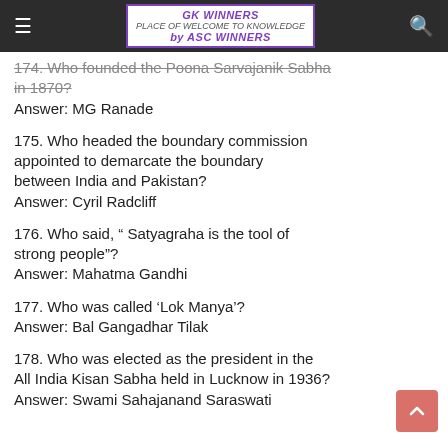GK WINNERS by ASC WINNERS
174. Who founded the Poona Sarvajanik Sabha in 1870?
Answer: MG Ranade
175. Who headed the boundary commission appointed to demarcate the boundary between India and Pakistan?
Answer: Cyril Radcliff
176. Who said, “ Satyagraha is the tool of strong people”?
Answer: Mahatma Gandhi
177. Who was called ‘Lok Manya’?
Answer: Bal Gangadhar Tilak
178. Who was elected as the president in the All India Kisan Sabha held in Lucknow in 1936?
Answer: Swami Sahajanand Saraswati